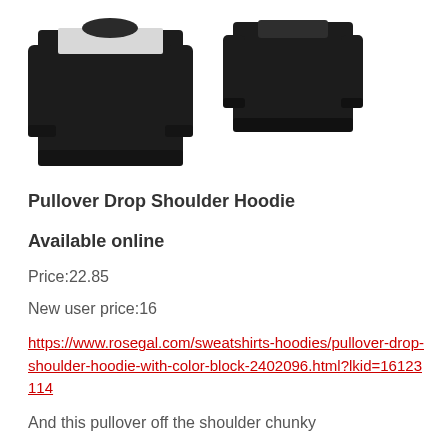[Figure (photo): Two black pullover drop shoulder hoodies shown side by side. Left hoodie has a white/light grey color block panel at the shoulder. Right hoodie is mostly black with a slight lighter collar area. Both are displayed on a white background.]
Pullover Drop Shoulder Hoodie
Available online
Price:22.85
New user price:16
https://www.rosegal.com/sweatshirts-hoodies/pullover-drop-shoulder-hoodie-with-color-block-2402096.html?lkid=16123114
And this pullover off the shoulder chunky